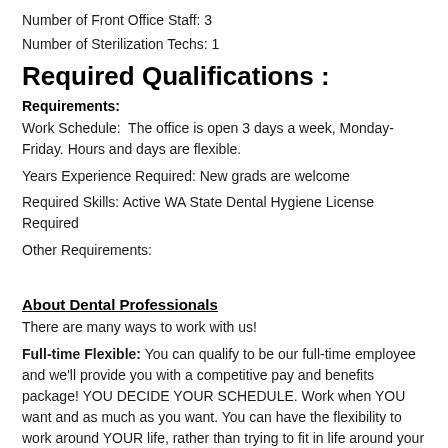Number of Front Office Staff: 3
Number of Sterilization Techs: 1
Required Qualifications :
Requirements:
Work Schedule:  The office is open 3 days a week, Monday-Friday. Hours and days are flexible.
Years Experience Required: New grads are welcome
Required Skills: Active WA State Dental Hygiene License Required
Other Requirements:
About Dental Professionals
There are many ways to work with us!
Full-time Flexible: You can qualify to be our full-time employee and we'll provide you with a competitive pay and benefits package! YOU DECIDE YOUR SCHEDULE. Work when YOU want and as much as you want. You can have the flexibility to work around YOUR life, rather than trying to fit in life around your work schedule.